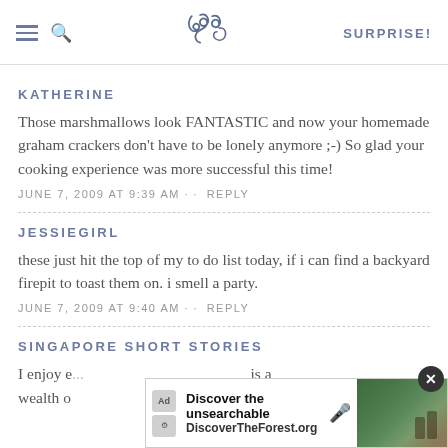SK SURPRISE!
KATHERINE
Those marshmallows look FANTASTIC and now your homemade graham crackers don't have to be lonely anymore ;-) So glad your cooking experience was more successful this time!
JUNE 7, 2009 AT 9:39 AM · · REPLY
JESSIEGIRL
these just hit the top of my to do list today, if i can find a backyard firepit to toast them on. i smell a party.
JUNE 7, 2009 AT 9:40 AM · · REPLY
SINGAPORE SHORT STORIES
I enjoy e... is a wealth o...
[Figure (screenshot): Advertisement banner: 'Discover the unsearchable' DiscoverTheForest.org with a photo of people in a forest]